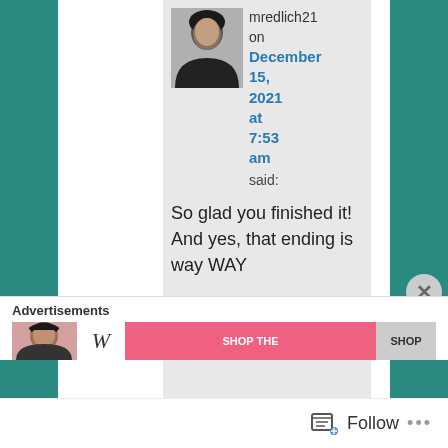mredlich21 on December 15, 2021 at 7:53 am said:
So glad you finished it! And yes, that ending is way WAY
Advertisements
Follow